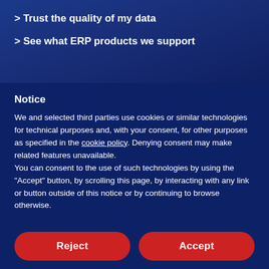> Trust the quality of my data
> See what ERP products we support
Notice
We and selected third parties use cookies or similar technologies for technical purposes and, with your consent, for other purposes as specified in the cookie policy. Denying consent may make related features unavailable.
You can consent to the use of such technologies by using the "Accept" button, by scrolling this page, by interacting with any link or button outside of this notice or by continuing to browse otherwise.